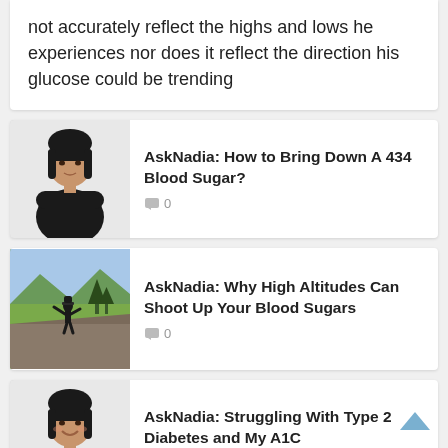not accurately reflect the highs and lows he experiences nor does it reflect the direction his glucose could be trending
[Figure (photo): Woman in black outfit with arms crossed, dark hair with bangs]
AskNadia: How to Bring Down A 434 Blood Sugar?
0
[Figure (photo): Person standing on rocky mountain overlook with landscape view]
AskNadia: Why High Altitudes Can Shoot Up Your Blood Sugars
0
[Figure (photo): Woman in black outfit smiling with arms crossed, dark hair with bangs]
AskNadia: Struggling With Type 2 Diabetes and My A1C
0